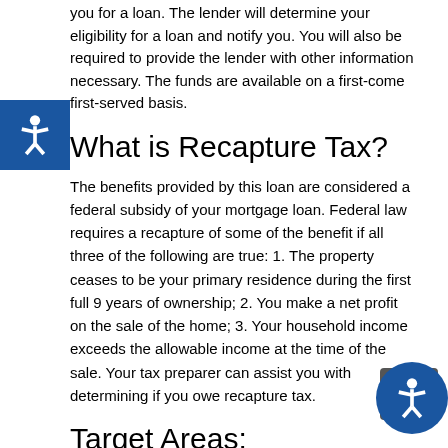you for a loan. The lender will determine your eligibility for a loan and notify you. You will also be required to provide the lender with other information necessary. The funds are available on a first-come first-served basis.
What is Recapture Tax?
The benefits provided by this loan are considered a federal subsidy of your mortgage loan. Federal law requires a recapture of some of the benefit if all three of the following are true: 1. The property ceases to be your primary residence during the first full 9 years of ownership; 2. You make a net profit on the sale of the home; 3. Your household income exceeds the allowable income at the time of the sale. Your tax preparer can assist you with determining if you owe recapture tax.
Target Areas:
If a borrower purchases a home in a target area, the borrower's income may be higher, the purchase price limit may be higher and the first time homebuyer requirement is waived. There are four federally designated target areas in